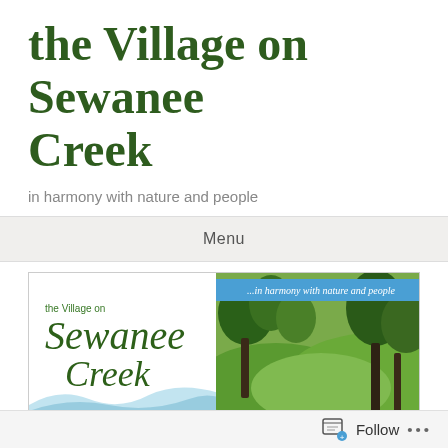the Village on Sewanee Creek
in harmony with nature and people
Menu
[Figure (logo): Banner image showing 'the Village on Sewanee Creek' logo on left with cursive script, and a nature photo with trees on right. Blue bar with text '...in harmony with nature and people' overlaid on the right photo side.]
VACATION CABINS
Follow ...